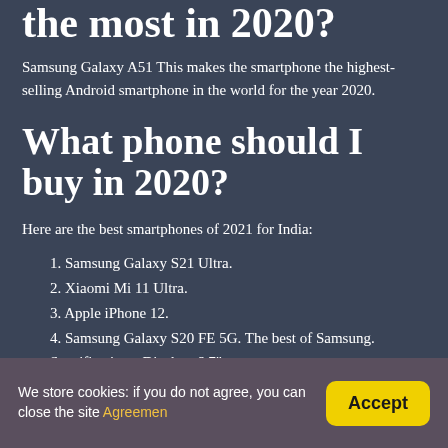the most in 2020?
Samsung Galaxy A51 This makes the smartphone the highest-selling Android smartphone in the world for the year 2020.
What phone should I buy in 2020?
Here are the best smartphones of 2021 for India:
1. Samsung Galaxy S21 Ultra.
2. Xiaomi Mi 11 Ultra.
3. Apple iPhone 12.
4. Samsung Galaxy S20 FE 5G. The best of Samsung. Specifications. Display: 6.7"
We store cookies: if you do not agree, you can close the site Agreemen